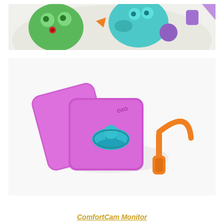[Figure (photo): Close-up photo of a colorful baby play mat with cartoon animal characters in green, teal, orange, red, and purple colors on a white background.]
[Figure (photo): Top-down photo of a pink/purple plastic pacifier case (OXO brand) open with a teal pacifier inside, and an orange pacifier clip on a white surface.]
ComfortCam Monitor